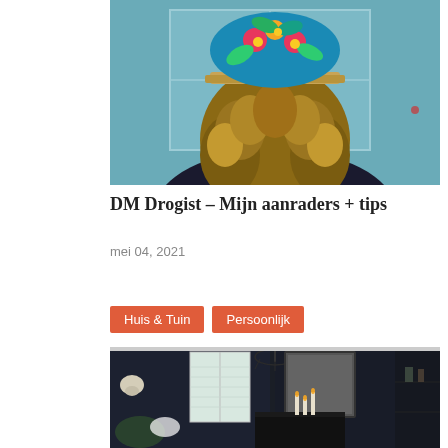[Figure (photo): Person seen from behind wearing a colorful tropical floral cap with cork brim and dark top, long curly highlighted hair, standing in front of a window with teal/blue wall]
DM Drogist – Mijn aanraders + tips
mei 04, 2021
Huis & Tuin   Persoonlijk
[Figure (photo): Dark moody interior room with black walls, ornate chandelier, large framed mirror, skull wall decoration, candles on black sideboard, window with white shutters, plants and flowers]